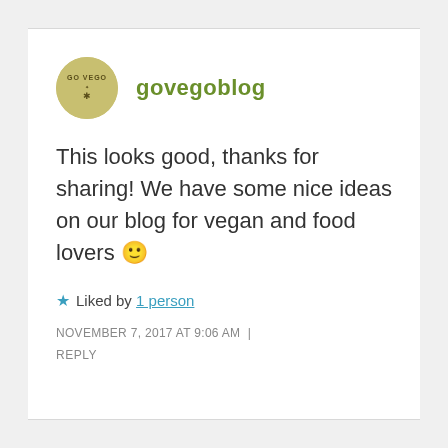[Figure (logo): Circular avatar badge for govegoblog with olive/gold background and blog logo text]
govegoblog
This looks good, thanks for sharing! We have some nice ideas on our blog for vegan and food lovers 🙂
★ Liked by 1 person
NOVEMBER 7, 2017 AT 9:06 AM
REPLY